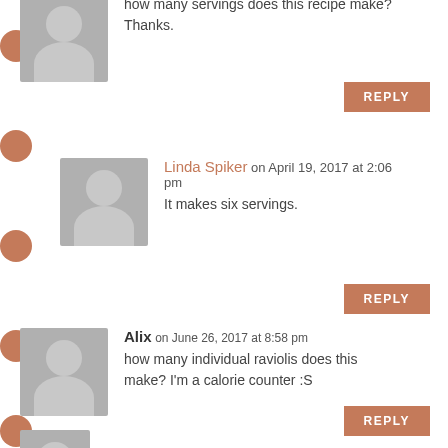how many servings does this recipe make? Thanks.
REPLY
Linda Spiker on April 19, 2017 at 2:06 pm
It makes six servings.
REPLY
Alix on June 26, 2017 at 8:58 pm
how many individual raviolis does this make? I'm a calorie counter :S
REPLY